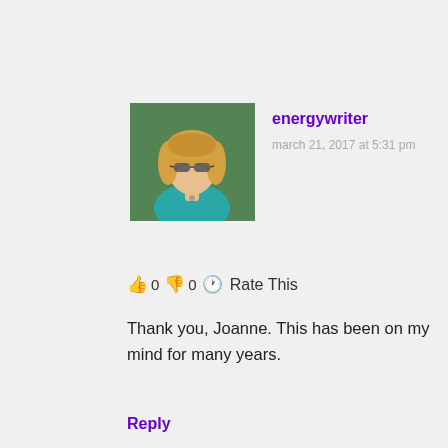[Figure (photo): Profile photo of a woman with blonde hair wearing teal/turquoise top and sunglasses, with green foliage background]
energywriter
march 21, 2017 at 5:31 pm
👍 0 👎 0 🕐 Rate This
Thank you, Joanne. This has been on my mind for many years.
Reply
Privacy & Cookies: This site uses cookies. By continuing to use this website, you agree to their use.
To find out more, including how to control cookies, see here: Cookie Policy
Close and accept